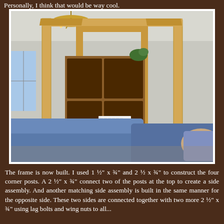Personally, I think that would be way cool.
[Figure (photo): Indoor photo showing a large wooden frame structure with four corner posts and horizontal top rails, built inside a living room. A model train layout is visible on a table inside the frame. A chandelier hangs from the ceiling in the background, and a blue couch is visible in the foreground. Wooden furniture and shelving units are in the background.]
The frame is now built. I used 1 ½" x ¾" and 2 ½ x ¾" to construct the four corner posts. A 2 ½" x ¾" connect two of the posts at the top to create a side assembly. And another matching side assembly is built in the same manner for the opposite side. These two sides are connected together with two more 2 ½" x ¾" using lag bolts and wing nuts to all...